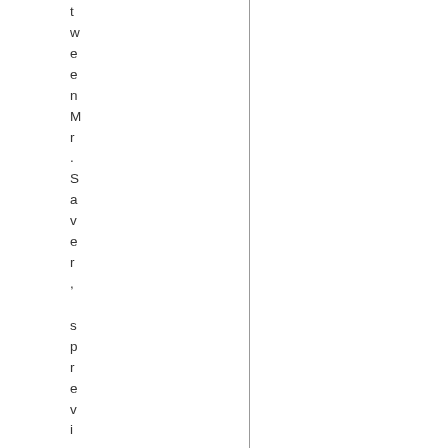tween Mr. Saver, sprevious bal